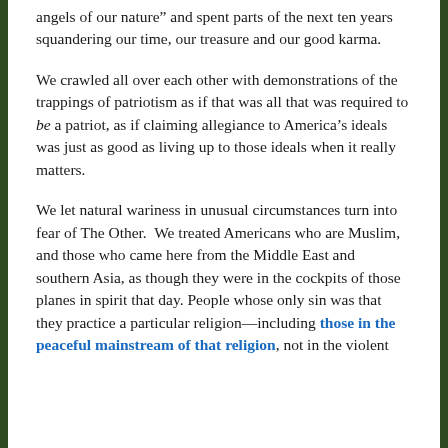angels of our nature” and spent parts of the next ten years squandering our time, our treasure and our good karma.
We crawled all over each other with demonstrations of the trappings of patriotism as if that was all that was required to be a patriot, as if claiming allegiance to America’s ideals was just as good as living up to those ideals when it really matters.
We let natural wariness in unusual circumstances turn into fear of The Other.  We treated Americans who are Muslim, and those who came here from the Middle East and southern Asia, as though they were in the cockpits of those planes in spirit that day. People whose only sin was that they practice a particular religion—including those in the peaceful mainstream of that religion, not in the violent